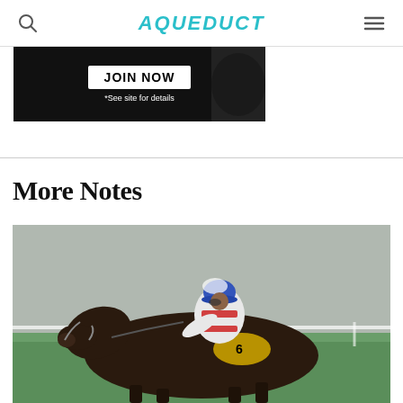AQUEDUCT
[Figure (photo): Advertisement banner showing JOIN NOW button with *See site for details text on dark background]
More Notes
[Figure (photo): Horse racing photo: jockey in red and white silks riding a dark bay horse at Aqueduct racetrack, green turf visible in background]